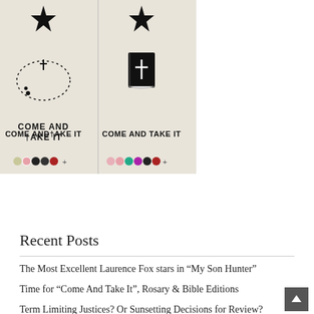[Figure (photo): Two t-shirt designs side by side on a beige/cream background. Left: a star above a rosary beads, text 'COME AND TAKE IT'. Right: a star above a Bible with a cross, text 'COME AND TAKE IT'. Below each design are color swatch dots.]
Recent Posts
The Most Excellent Laurence Fox stars in “My Son Hunter”
Time for “Come And Take It”, Rosary & Bible Editions
Term Limiting Justices? Or Sunsetting Decisions for Review?
Recalling Obama’s Drone Gift to Iran — For sale now to Russia
When does tuppence equal $250K ??
Recalling the Obama pay-off backstory on Georgia’s new late and over-budget Nuclear Power Plant